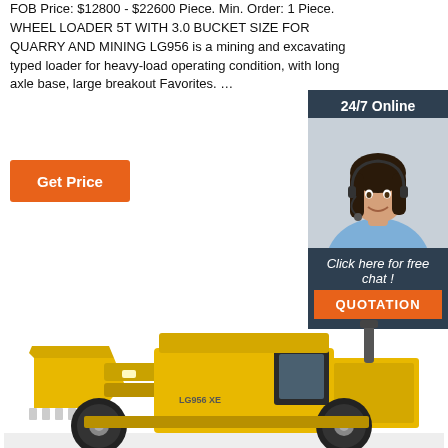FOB Price: $12800 - $22600 Piece. Min. Order: 1 Piece. WHEEL LOADER 5T WITH 3.0 BUCKET SIZE FOR QUARRY AND MINING LG956 is a mining and excavating typed loader for heavy-load operating condition, with long axle base, large breakout Favorites. ...
[Figure (screenshot): Orange 'Get Price' button]
[Figure (infographic): 24/7 Online chat widget with a woman wearing a headset. Click here for free chat! QUOTATION button.]
[Figure (photo): Yellow construction wheel loader / mining machine LG956, photographed from the front-left angle.]